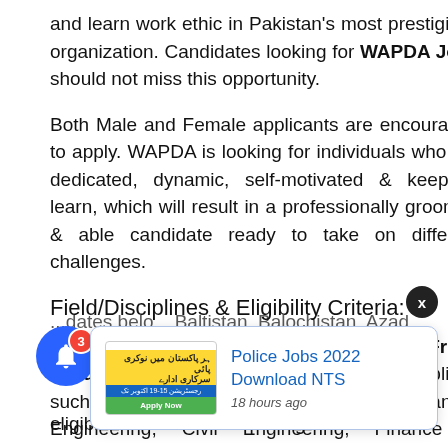and learn work ethic in Pakistan's most prestigious organization. Candidates looking for WAPDA Jobs should not miss this opportunity.
Both Male and Female applicants are encouraged to apply. WAPDA is looking for individuals who are dedicated, dynamic, self-motivated & keep to learn, which will result in a professionally groomed & able candidate ready to take on different challenges.
Field/Disciplines & Eligibility Criteria:
This WAPDA Internship Program for Fresh Graduates are being offered in various disciplines such as Electrical/Electronic & Mechanical Engineering, Civil Engineering, Finance & Accounting, Human Resource & Administration, M...
...dates belo... Baltistan, Balochistan, Azad Kashmir, and LA, PA/... are eligible for this Internship Program.
[Figure (infographic): Notification bell icon with red badge showing '3' and a popup card advertising 'Police Jobs 2022 Download NTS' with thumbnail image and '18 hours ago' timestamp]